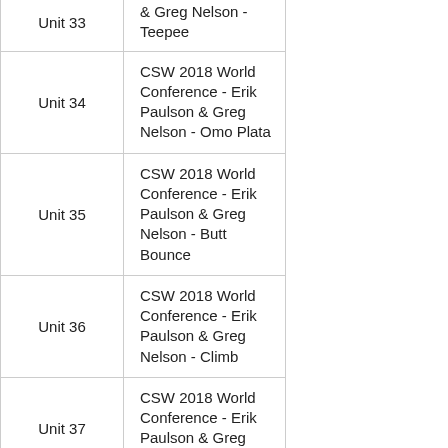| Unit | Description |
| --- | --- |
| Unit 33 (partial) | & Greg Nelson - Teepee |
| Unit 34 | CSW 2018 World Conference - Erik Paulson & Greg Nelson - Omo Plata |
| Unit 35 | CSW 2018 World Conference - Erik Paulson & Greg Nelson - Butt Bounce |
| Unit 36 | CSW 2018 World Conference - Erik Paulson & Greg Nelson - Climb |
| Unit 37 | CSW 2018 World Conference - Erik Paulson & Greg Nelson - Hip Heist |
| Unit 38 | CSW 2018 World Conference - Erik Paulson & Greg Nelson - Kick Off |
| Module 4 | Greg Nelson |
| Module 5 | Greg Nelson & Ben Jones |
| Module 6 | Erik Paulson |
| Module 7 | Nicolas Saignac |